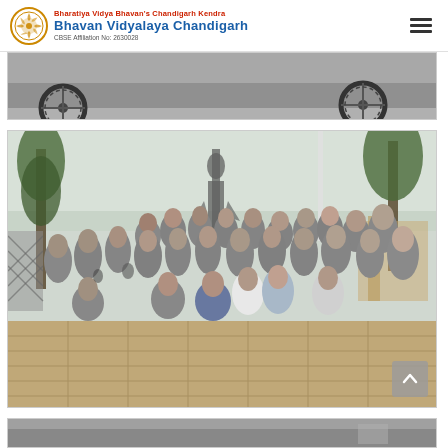Bharatiya Vidya Bhavan's Chandigarh Kendra — Bhavan Vidyalaya Chandigarh — CBSE Affiliation No: 2630028
[Figure (photo): Partial top crop of a road/bicycle photo, appearing as a strip at the top of the content area]
[Figure (photo): Group photo of approximately 30 students and teachers in gray uniforms/t-shirts standing in front of a large statue (Statue of Unity), taken at an outdoor plaza with paved ground, trees, and a lattice wall on the left]
[Figure (photo): Partial bottom crop of another photo, partially visible at the bottom of the page]